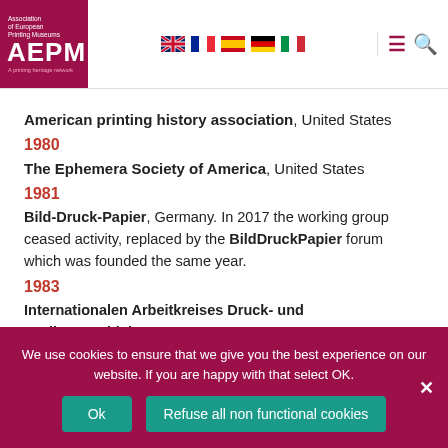[Figure (logo): AEPM Association of European Printing Museums logo on dark pink/maroon background]
American printing history association, United States
1980
The Ephemera Society of America, United States
1981
Bild-Druck-Papier, Germany. In 2017 the working group ceased activity, replaced by the BildDruckPapier forum which was founded the same year.
1983
Internationalen Arbeitkreises Druck- und Mediengeschichte (IADM), originally the Internationalen Arbeitkreises...
We use cookies to ensure that we give you the best experience on our website. If you are happy with that select OK.